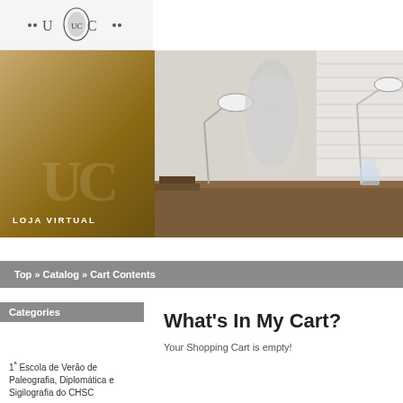[Figure (logo): UC (Universidade de Coimbra) logo with emblem and dots]
[Figure (photo): Split banner: left golden brown panel with UC watermark and 'LOJA VIRTUAL' text; right side shows a blurred motion photo of a person at a desk with lamps]
Top » Catalog » Cart Contents
Categories
What's In My Cart?
Your Shopping Cart is empty!
1ª Escola de Verão de Paleografia, Diplomática e Sigilografia do CHSC